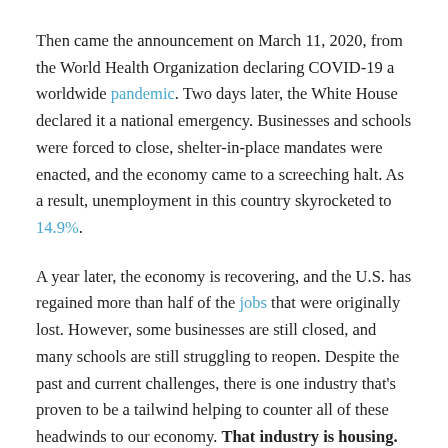Then came the announcement on March 11, 2020, from the World Health Organization declaring COVID-19 a worldwide pandemic. Two days later, the White House declared it a national emergency. Businesses and schools were forced to close, shelter-in-place mandates were enacted, and the economy came to a screeching halt. As a result, unemployment in this country skyrocketed to 14.9%.
A year later, the economy is recovering, and the U.S. has regained more than half of the jobs that were originally lost. However, some businesses are still closed, and many schools are still struggling to reopen. Despite the past and current challenges, there is one industry that's proven to be a tailwind helping to counter all of these headwinds to our economy. That industry is housing. Remarkably, the residential real estate market (including existing homes and new construction) has flourished over the last twelve months. Sales are up, prices are appreciating, and more